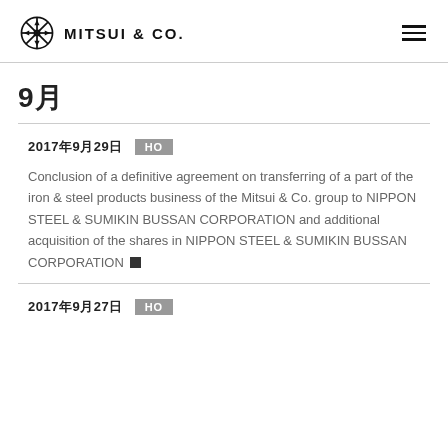MITSUI & CO.
9月
2017年9月29日  HO
Conclusion of a definitive agreement on transferring of a part of the iron & steel products business of the Mitsui & Co. group to NIPPON STEEL & SUMIKIN BUSSAN CORPORATION and additional acquisition of the shares in NIPPON STEEL & SUMIKIN BUSSAN CORPORATION
2017年9月27日  HO